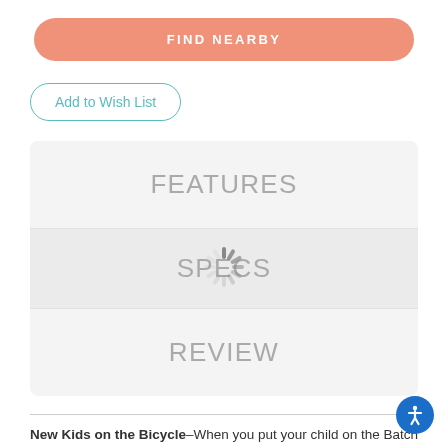FIND NEARBY
Add to Wish List
FEATURES
[Figure (other): Loading spinner icon overlaid on SPECS tab section]
SPECS
REVIEW
New Kids on the Bicycle–When you put your child on the Batch Kids Bike, you're putting